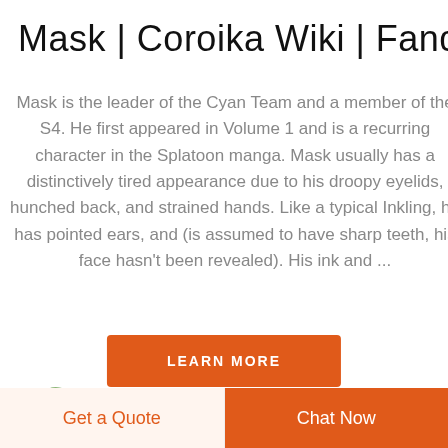Mask | Coroika Wiki | Fandom
Mask is the leader of the Cyan Team and a member of the S4. He first appeared in Volume 1 and is a recurring character in the Splatoon manga. Mask usually has a distinctively tired appearance due to his droopy eyelids, hunched back, and strained hands. Like a typical Inkling, he has pointed ears, and (is assumed to have sharp teeth, his face hasn't been revealed). His ink and ...
LEARN MORE
[Figure (logo): Partial logo with green and red curved shapes visible at bottom left]
Get a Quote
Chat Now